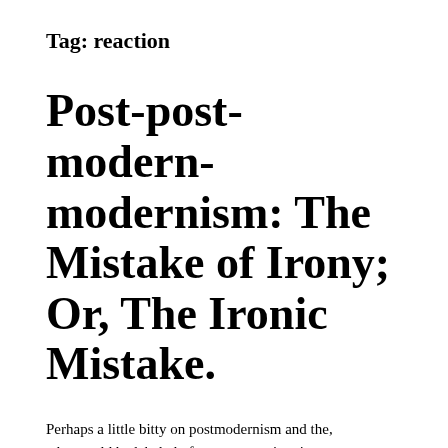Tag: reaction
Post-post-modern-modernism: The Mistake of Irony; Or, The Ironic Mistake.
Perhaps a little bitty on postmodernism and the, what could be labeled of our current situation, post-post-modern-modernism.
Here are a couple links that you ably define the